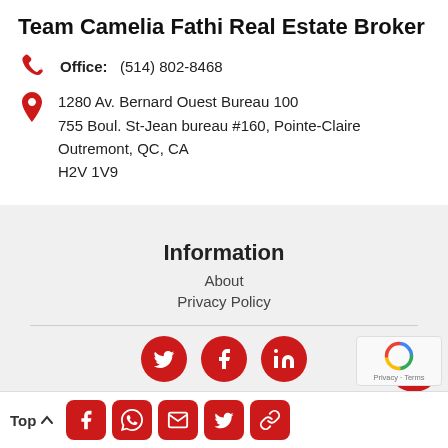Team Camelia Fathi Real Estate Broker
Office: (514) 802-8468
1280 Av. Bernard Ouest Bureau 100
755 Boul. St-Jean bureau #160, Pointe-Claire
Outremont, QC, CA
H2V 1V9
Information
About
Privacy Policy
[Figure (infographic): Three red circular social media icons: Twitter bird, Facebook f, LinkedIn in]
[Figure (infographic): Point2 Agent PROFESSIONAL badge - blue seal with star and red ribbon banner]
[Figure (infographic): Row of five red square social icons: Facebook, WhatsApp, Email/message, Twitter, Link/chain]
Point2 Agent
PROFESSIONAL
Top ^